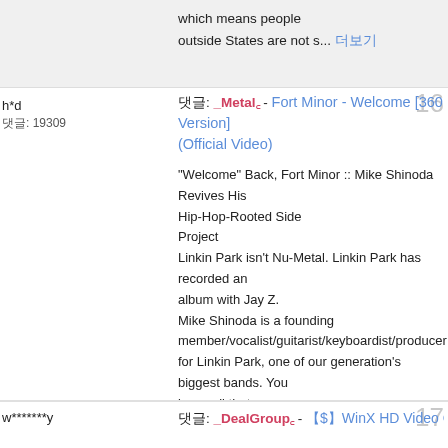which means people outside States are not s... 더보기
h*d
댓글: 19309
댓글: _Metal꜀ - Fort Minor - Welcome [360 Version] (Official Video)
"Welcome" Back, Fort Minor :: Mike Shinoda Revives His Hip-Hop-Rooted Side Project
Linkin Park isn't Nu-Metal. Linkin Park has recorded an album with Jay Z.
Mike Shinoda is a founding member/vocalist/guitarist/keyboardist/producer for Linkin Park, one of our generation's biggest bands. You know all that.
What you may not know is that Mike recently revived his believed-to-be-defunct side project, Fort Minor, to drop a new VR/360 song and video, and perform the first solo show of his career. I wa... 더보기
w*******y
댓글: _DealGroup꜀ - 【$】WinX HD Video Converter